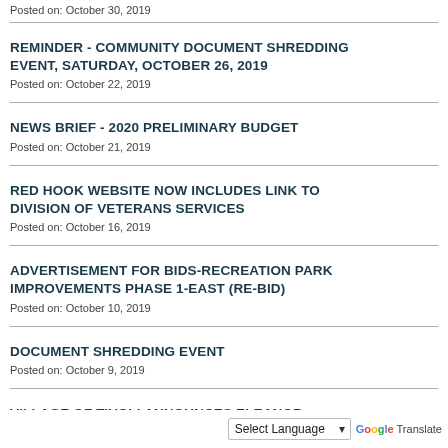Posted on: October 30, 2019
REMINDER - COMMUNITY DOCUMENT SHREDDING EVENT, SATURDAY, OCTOBER 26, 2019
Posted on: October 22, 2019
NEWS BRIEF - 2020 PRELIMINARY BUDGET
Posted on: October 21, 2019
RED HOOK WEBSITE NOW INCLUDES LINK TO DIVISION OF VETERANS SERVICES
Posted on: October 16, 2019
ADVERTISEMENT FOR BIDS-RECREATION PARK IMPROVEMENTS PHASE 1-EAST (RE-BID)
Posted on: October 10, 2019
DOCUMENT SHREDDING EVENT
Posted on: October 9, 2019
VILLAGE OF TIVOLI ANNOUNCES ELEANOR